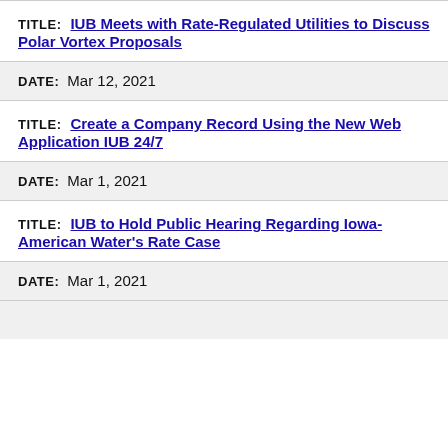TITLE: IUB Meets with Rate-Regulated Utilities to Discuss Polar Vortex Proposals
DATE: Mar 12, 2021
TITLE: Create a Company Record Using the New Web Application IUB 24/7
DATE: Mar 1, 2021
TITLE: IUB to Hold Public Hearing Regarding Iowa-American Water's Rate Case
DATE: Mar 1, 2021